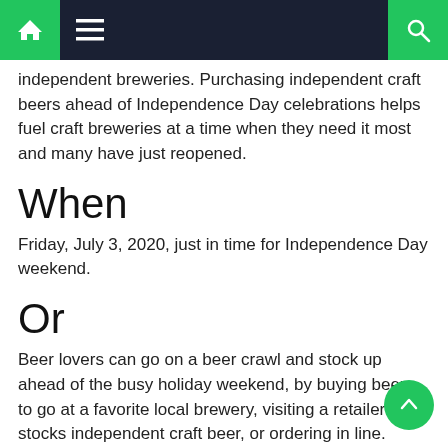[Navigation bar with home, menu, and search icons]
independent breweries. Purchasing independent craft beers ahead of Independence Day celebrations helps fuel craft breweries at a time when they need it most and many have just reopened.
When
Friday, July 3, 2020, just in time for Independence Day weekend.
Or
Beer lovers can go on a beer crawl and stock up ahead of the busy holiday weekend, by buying beers to go at a favorite local brewery, visiting a retailer that stocks independent craft beer, or ordering in line.